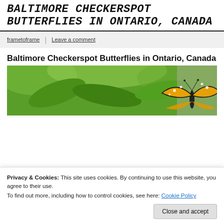BALTIMORE CHECKERSPOT BUTTERFLIES IN ONTARIO, CANADA
frametoframe | Leave a comment
Baltimore Checkerspot Butterflies in Ontario, Canada
[Figure (photo): Photo of a Baltimore Checkerspot butterfly on green leaves with blurred green background]
Privacy & Cookies: This site uses cookies. By continuing to use this website, you agree to their use.
To find out more, including how to control cookies, see here: Cookie Policy
Close and accept